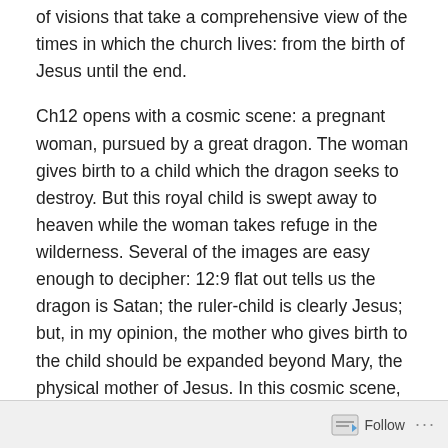of visions that take a comprehensive view of the times in which the church lives: from the birth of Jesus until the end.
Ch12 opens with a cosmic scene: a pregnant woman, pursued by a great dragon. The woman gives birth to a child which the dragon seeks to destroy. But this royal child is swept away to heaven while the woman takes refuge in the wilderness. Several of the images are easy enough to decipher: 12:9 flat out tells us the dragon is Satan; the ruler-child is clearly Jesus; but, in my opinion, the mother who gives birth to the child should be expanded beyond Mary, the physical mother of Jesus. In this cosmic scene, the woman is wearing a crown of twelve stars. Twelve, in John's motif, is the mark of the
Follow